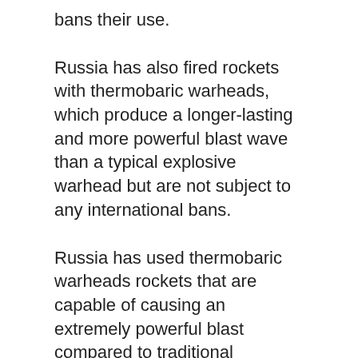bans their use.
Russia has also fired rockets with thermobaric warheads, which produce a longer-lasting and more powerful blast wave than a typical explosive warhead but are not subject to any international bans.
Russia has used thermobaric warheads rockets that are capable of causing an extremely powerful blast compared to traditional explosives.
Under the Geneva conventions, countries are not allowed to use these weapons on